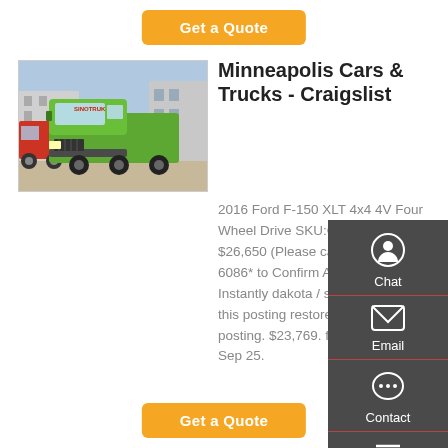Get a Quote
[Figure (photo): Green Sinotruck semi-truck parked in a lot, front three-quarter view]
Minneapolis Cars & Trucks - Craigslist
2016 Ford F-150 XLT 4x4 4V Four Wheel Drive SKU:GKD81090. $26,650 (Please call *651-243-6086* to Confirm Availability Instantly dakota / scott ) pic hide this posting restore restore this posting. $23,769. favorite this post Sep 25.
Get a Quote